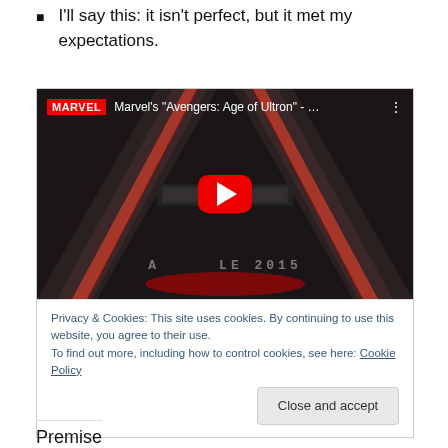I'll say this: it isn't perfect, but it met my expectations.
[Figure (screenshot): YouTube embed thumbnail for Marvel's 'Avengers: Age of Ultron' trailer, showing the Avengers 'A' logo in metallic red and grey, with a YouTube play button overlay. A cookie consent notice is overlaid at the bottom of the embed.]
Privacy & Cookies: This site uses cookies. By continuing to use this website, you agree to their use.
To find out more, including how to control cookies, see here: Cookie Policy
Premise